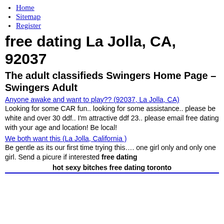Home
Sitemap
Register
free dating La Jolla, CA, 92037
The adult classifieds Swingers Home Page – Swingers Adult
Anyone awake and want to play?? (92037, La Jolla, CA)
Looking for some CAR fun.. looking for some assistance.. please be white and over 30 ddf.. I'm attractive ddf 23.. please email free dating with your age and location! Be local!
We both want this (La Jolla, California )
Be gentle as its our first time trying this…. one girl only and only one girl. Send a picure if interested free dating
hot sexy bitches free dating toronto